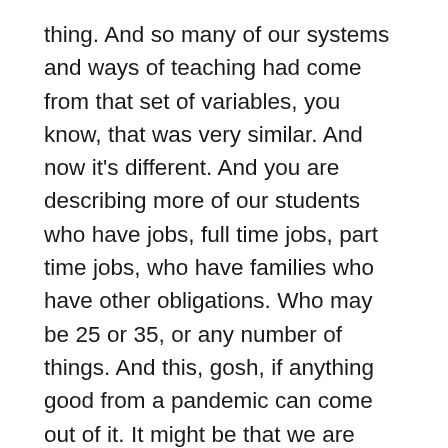thing. And so many of our systems and ways of teaching had come from that set of variables, you know, that was very similar. And now it's different. And you are describing more of our students who have jobs, full time jobs, part time jobs, who have families who have other obligations. Who may be 25 or 35, or any number of things. And this, gosh, if anything good from a pandemic can come out of it. It might be that we are rethinking some of those systems that privileged a certain part and let those other students who had anxiety , English as a second language, or were they wallflowers, as you said, that kind of pushed those students to the side. And now we're finding that there are other ways to